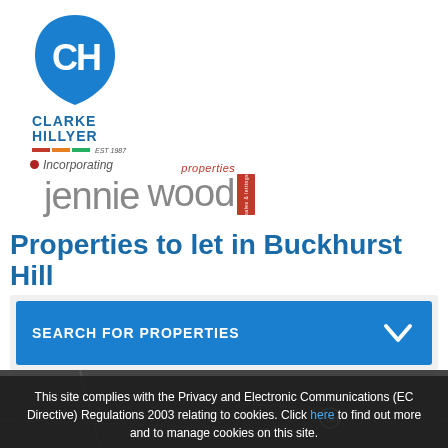[Figure (logo): Clarke Hillyer logo with CH monogram in blue circle and Jennie Wood Properties incorporating text below]
Properties to let in Buckhurst Hill
SEARCH FOR PROPERTIES
This site complies with the Privacy and Electronic Communications (EC Directive) Regulations 2003 relating to cookies. Click here to find out more and to manage cookies on this site.
[Figure (map): Street map showing Buckhurst Hill area with zoom controls]